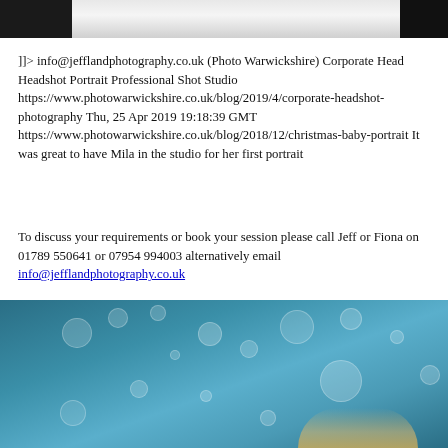[Figure (photo): Partial view of portrait photographs at top of page, dark background]
]]> info@jefflandphotography.co.uk (Photo Warwickshire) Corporate Head Headshot Portrait Professional Shot Studio https://www.photowarwickshire.co.uk/blog/2019/4/corporate-headshot-photography Thu, 25 Apr 2019 19:18:39 GMT https://www.photowarwickshire.co.uk/blog/2018/12/christmas-baby-portrait It was great to have Mila in the studio for her first portrait
To discuss your requirements or book your session please call Jeff or Fiona on 01789 550641 or 07954 994003 alternatively email info@jefflandphotography.co.uk
[Figure (photo): Blue bokeh background portrait photo, partially visible blonde subject at bottom of page]